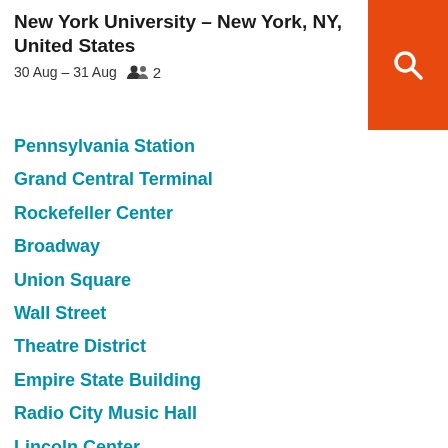New York University – New York, NY, United States
30 Aug – 31 Aug  👥  2
Pennsylvania Station
Grand Central Terminal
Rockefeller Center
Broadway
Union Square
Wall Street
Theatre District
Empire State Building
Radio City Music Hall
Lincoln Center
Carnegie Hall
Columbus Circle
New York University
United Nations Headquarters
Bryant Park
Washington Square Park
Gramercy Park